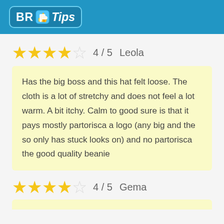BR Tips
★★★★☆ 4 / 5  Leola
Has the big boss and this hat felt loose. The cloth is a lot of stretchy and does not feel a lot warm. A bit itchy. Calm to good sure is that it pays mostly partorisca a logo (any big and the so only has stuck looks on) and no partorisca the good quality beanie
★★★★☆ 4 / 5  Gema